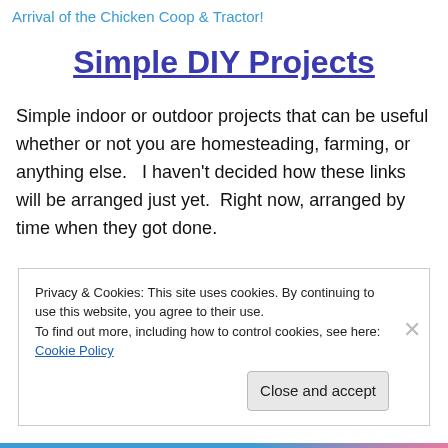Arrival of the Chicken Coop & Tractor!
Simple DIY Projects
Simple indoor or outdoor projects that can be useful whether or not you are homesteading, farming, or anything else.   I haven't decided how these links will be arranged just yet.  Right now, arranged by time when they got done.
Privacy & Cookies: This site uses cookies. By continuing to use this website, you agree to their use.
To find out more, including how to control cookies, see here: Cookie Policy
[Close and accept]